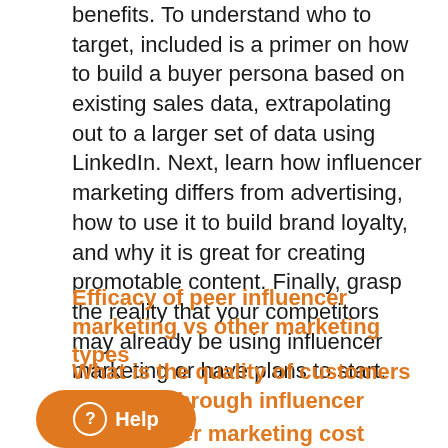benefits. To understand who to target, included is a primer on how to build a buyer persona based on existing sales data, extrapolating out to a larger set of data using LinkedIn. Next, learn how influencer marketing differs from advertising, how to use it to build brand loyalty, and why it is great for creating promotable content. Finally, grasp the reality that your competitors may already be using influencer marketing or have plans to start.
Efficacy of peer influencer marketing vs other marketing types
What is the quality of customers acquired through influencer marketing?
Is influencer marketing cost effective?